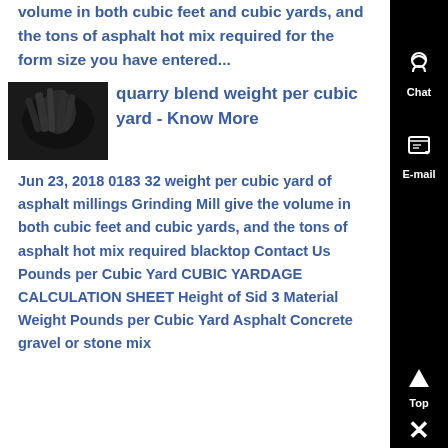volume in both cubic feet and cubic yards, and the tons of asphalt hot mix required for the form size you have entered...
[Figure (photo): Small thumbnail photo showing dark/black industrial material, likely asphalt or quarry blend]
quarry blend weight per cubic yard - Know More
Jun 23, 2018 0183 32 weight per cubic yard of asphalt millings Grinding Mill give the volume in both cubic feet and cubic yards, and the tons of asphalt hot mix required blacktop Contact Us Pounds per Cubic Yard CUBIC YARDAGE CALCULATION SHEET Height of Sid 3 Material Weight Pounds per Cubic Yard Asphalt Concrete gravel or stone mix